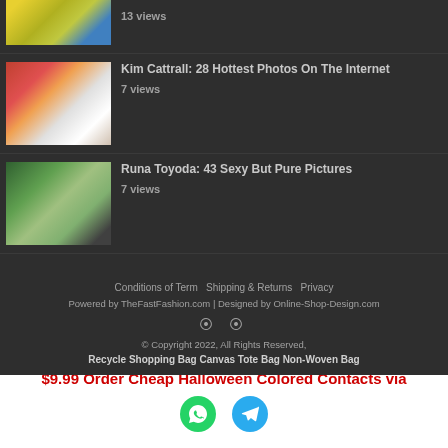[Figure (photo): Partial thumbnail of a woman in yellow top, cropped at top]
13 views
[Figure (photo): Thumbnail of two women in bikinis/swimwear]
Kim Cattrall: 28 Hottest Photos On The Internet
7 views
[Figure (photo): Thumbnail of a person outdoors in nature setting]
Runa Toyoda: 43 Sexy But Pure Pictures
7 views
Conditions of Term  Shipping & Returns  Privacy
Powered by TheFastFashion.com | Designed by Online-Shop-Design.com
© Copyright 2022, All Rights Reserved,
Recycle Shopping Bag Canvas Tote Bag Non-Woven Bag
$9.99 Order Cheap Halloween Colored Contacts via